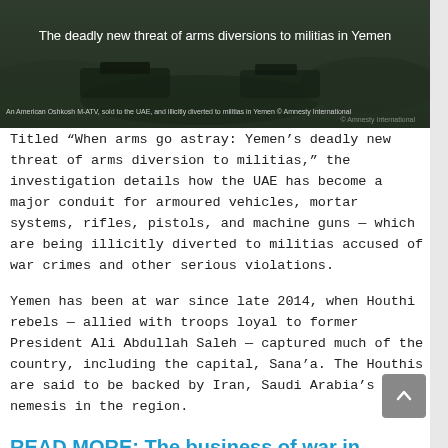[Figure (photo): Dark military/conflict scene with text overlay reading 'The deadly new threat of arms diversions to militias in Yemen']
An American Oshkosh M-ATV, sold to the UAE, and illicitly diverted to militias in Yemen © Amnesty International
Titled "When arms go astray: Yemen's deadly new threat of arms diversion to militias," the investigation details how the UAE has become a major conduit for armoured vehicles, mortar systems, rifles, pistols, and machine guns — which are being illicitly diverted to militias accused of war crimes and other serious violations.
Yemen has been at war since late 2014, when Houthi rebels — allied with troops loyal to former President Ali Abdullah Saleh — captured much of the country, including the capital, Sana'a. The Houthis are said to be backed by Iran, Saudi Arabia's nemesis in the region.
READ MORE: The business of war in Yemen – how Saudi dollars keep the arms flowing
In March 2015, a Saudi Arabia-led coalition launched an aerial